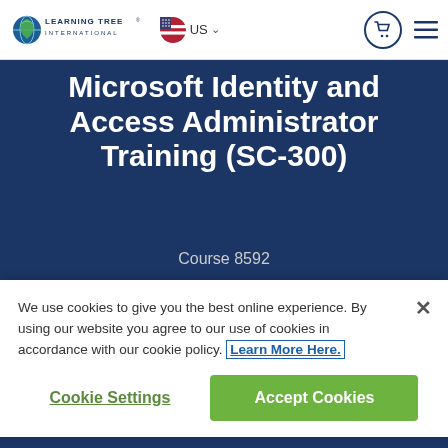[Figure (logo): Learning Tree International logo with globe icon]
Microsoft Identity and Access Administrator Training (SC-300)
Course 8592
Download PDF version
We use cookies to give you the best online experience. By using our website you agree to our use of cookies in accordance with our cookie policy. Learn More Here.
Cookie Settings
Accept Cookies